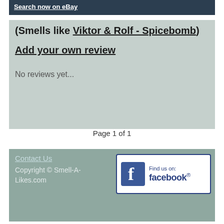Search now on eBay
(Smells like Viktor & Rolf - Spicebomb)
Add your own review
No reviews yet...
Page 1 of 1
Contact Us
Copyright © Smell-A-Likes.com
[Figure (logo): Find us on Facebook logo badge with Facebook icon and text]